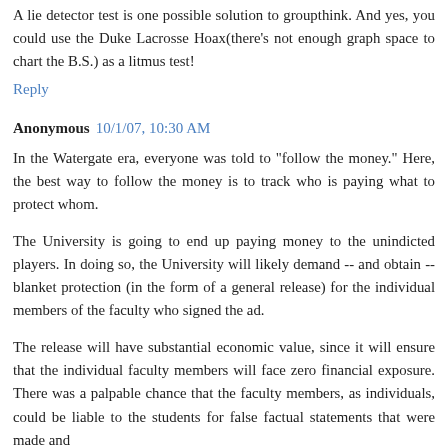A lie detector test is one possible solution to groupthink. And yes, you could use the Duke Lacrosse Hoax(there's not enough graph space to chart the B.S.) as a litmus test!
Reply
Anonymous 10/1/07, 10:30 AM
In the Watergate era, everyone was told to "follow the money." Here, the best way to follow the money is to track who is paying what to protect whom.
The University is going to end up paying money to the unindicted players. In doing so, the University will likely demand -- and obtain -- blanket protection (in the form of a general release) for the individual members of the faculty who signed the ad.
The release will have substantial economic value, since it will ensure that the individual faculty members will face zero financial exposure. There was a palpable chance that the faculty members, as individuals, could be liable to the students for false factual statements that were made and